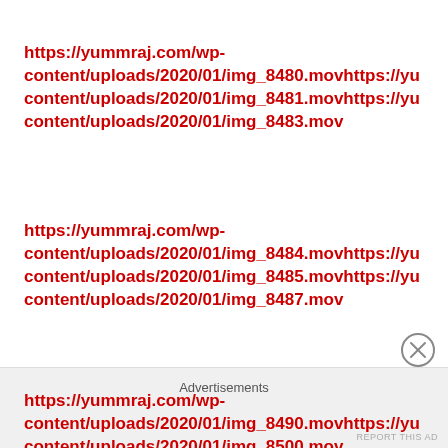https://yummraj.com/wp-content/uploads/2020/01/img_8480.movhttps://yu…content/uploads/2020/01/img_8481.movhttps://yu…content/uploads/2020/01/img_8483.mov
https://yummraj.com/wp-content/uploads/2020/01/img_8484.movhttps://yu…content/uploads/2020/01/img_8485.movhttps://yu…content/uploads/2020/01/img_8487.mov
https://yummraj.com/wp-content/uploads/2020/01/img_8490.movhttps://yu…content/uploads/2020/01/img_8500.mov
Advertisements